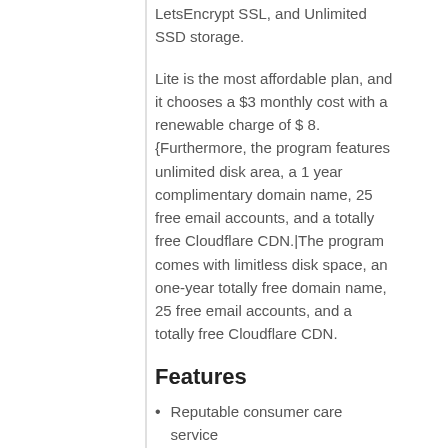LetsEncrypt SSL, and Unlimited SSD storage.
Lite is the most affordable plan, and it chooses a $3 monthly cost with a renewable charge of $ 8. {Furthermore, the program features unlimited disk area, a 1 year complimentary domain name, 25 free email accounts, and a totally free Cloudflare CDN.|The program comes with limitless disk space, an one-year totally free domain name, 25 free email accounts, and a totally free Cloudflare CDN.
Features
Reputable consumer care service